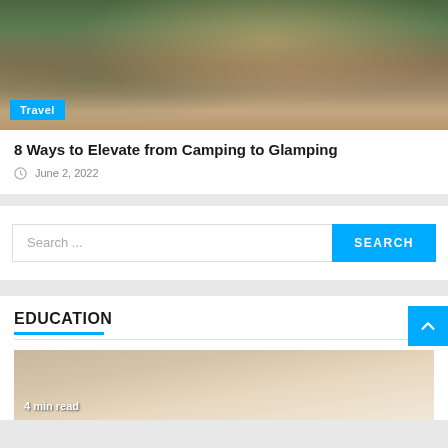[Figure (photo): Glamping tent in forest setting with person sitting outside on wooden deck]
Travel
8 Ways to Elevate from Camping to Glamping
June 2, 2022
Search ...
EDUCATION
[Figure (photo): Education section image, 4 min read badge]
4 min read